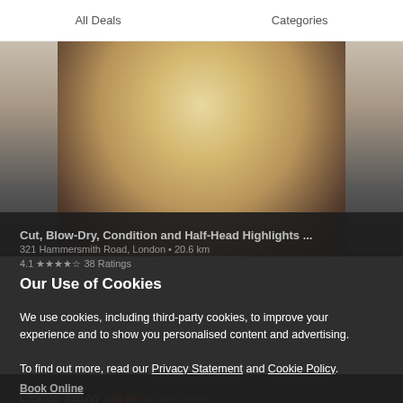All Deals   Categories
[Figure (photo): Photo of a blonde woman against a grey/dark background, partially visible behind the cookie consent overlay]
Our Use of Cookies
We use cookies, including third-party cookies, to improve your experience and to show you personalised content and advertising.
To find out more, read our Privacy Statement and Cookie Policy.
Cut, Blow-Dry, Condition and Half-Head Highlights ...
321 Hammersmith Road, London • 20.6 km
4.1 ★★★★☆ 38 Ratings
£305.00  £49.00  £39.20  Sale Ends 24/08
Wash, cut, blow-dry and condition with half-head highlights or full-head colour
Accept All
Reject All
My Options
Book Online